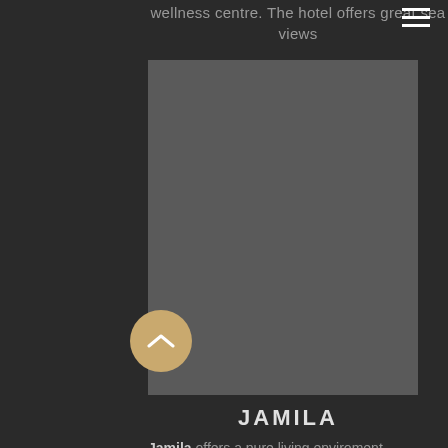wellness centre. The hotel offers great sea views
[Figure (photo): Large grey placeholder image for a hotel photo]
JAMILA
Jamila offers a pure living enviroment detached from the busy, noisy downtown